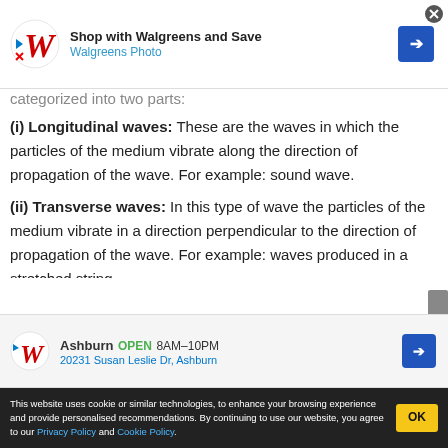[Figure (other): Walgreens advertisement banner: Shop with Walgreens and Save – Walgreens Photo]
categorized into two parts:
(i) Longitudinal waves: These are the waves in which the particles of the medium vibrate along the direction of propagation of the wave. For example: sound wave.
(ii) Transverse waves: In this type of wave the particles of the medium vibrate in a direction perpendicular to the direction of propagation of the wave. For example: waves produced in a stretched string.
Another type of waves which do not require any medium for propagation are called electromagnetic
[Figure (other): Walgreens local store ad: Ashburn OPEN 8AM–10PM, 20231 Susan Leslie Dr, Ashburn]
This website uses cookie or similar technologies, to enhance your browsing experience and provide personalised recommendations. By continuing to use our website, you agree to our Privacy Policy and Cookie Policy. OK